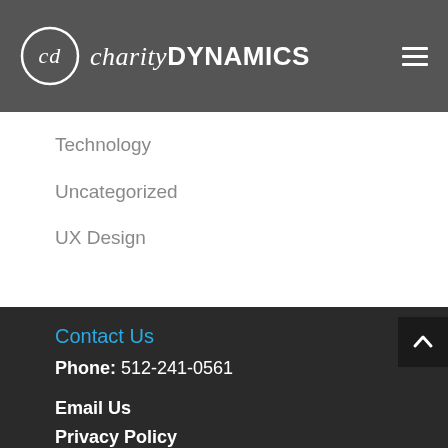[Figure (logo): Charity Dynamics logo with circular CD icon and text 'charityDYNAMICS' in white on dark grey header, with hamburger menu icon on right]
Technology
Uncategorized
UX Design
Contact Us
Phone: 512-241-0561
Email Us
Privacy Policy